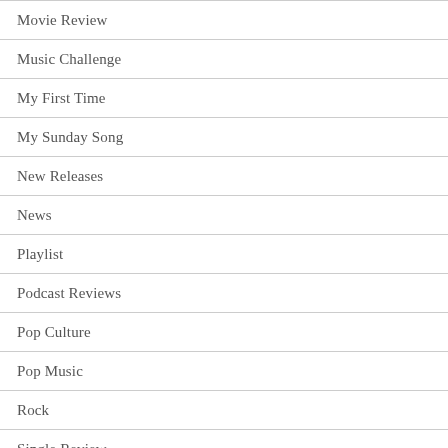Movie Review
Music Challenge
My First Time
My Sunday Song
New Releases
News
Playlist
Podcast Reviews
Pop Culture
Pop Music
Rock
Single Review
Streaming Service Reviews